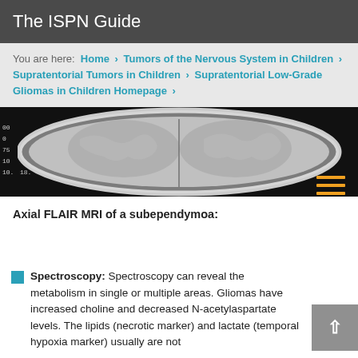The ISPN Guide
You are here: Home > Tumors of the Nervous System in Children > Supratentorial Tumors in Children > Supratentorial Low-Grade Gliomas in Children Homepage >
[Figure (photo): Axial FLAIR MRI scan of a brain showing subependymoma, grayscale medical imaging with orange menu icon overlay in bottom right]
Axial FLAIR MRI of a subependymoa:
Spectroscopy: Spectroscopy can reveal the metabolism in single or multiple areas. Gliomas have increased choline and decreased N-acetylaspartate levels. The lipids (necrotic marker) and lactate (temporal hypoxia marker) usually are not